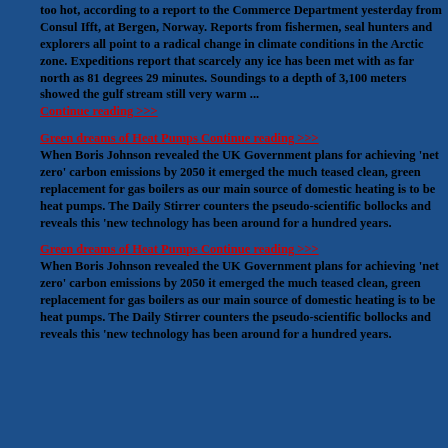too hot, according to a report to the Commerce Department yesterday from Consul Ifft, at Bergen, Norway. Reports from fishermen, seal hunters and explorers all point to a radical change in climate conditions in the Arctic zone. Expeditions report that scarcely any ice has been met with as far north as 81 degrees 29 minutes. Soundings to a depth of 3,100 meters showed the gulf stream still very warm ... Continue reading >>>
Green dreams of Heat Pumps Continue reading >>> When Boris Johnson revealed the UK Government plans for achieving 'net zero' carbon emissions by 2050 it emerged the much teased clean, green replacement for gas boilers as our main source of domestic heating is to be heat pumps. The Daily Stirrer counters the pseudo-scientific bollocks and reveals this 'new technology has been around for a hundred years.
Green dreams of Heat Pumps Continue reading >>> When Boris Johnson revealed the UK Government plans for achieving 'net zero' carbon emissions by 2050 it emerged the much teased clean, green replacement for gas boilers as our main source of domestic heating is to be heat pumps. The Daily Stirrer counters the pseudo-scientific bollocks and reveals this 'new technology has been around for a hundred years.